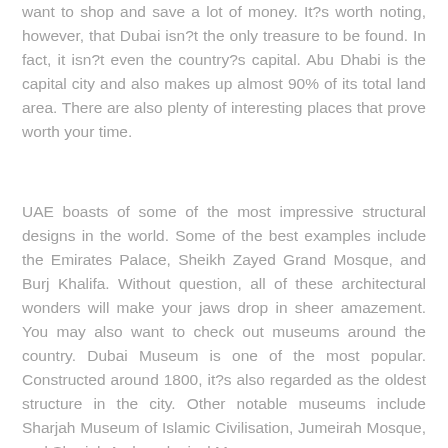want to shop and save a lot of money. It's worth noting, however, that Dubai isn?t the only treasure to be found. In fact, it isn?t even the country?s capital. Abu Dhabi is the capital city and also makes up almost 90% of its total land area. There are also plenty of interesting places that prove worth your time.
UAE boasts of some of the most impressive structural designs in the world. Some of the best examples include the Emirates Palace, Sheikh Zayed Grand Mosque, and Burj Khalifa. Without question, all of these architectural wonders will make your jaws drop in sheer amazement. You may also want to check out museums around the country. Dubai Museum is one of the most popular. Constructed around 1800, it?s also regarded as the oldest structure in the city. Other notable museums include Sharjah Museum of Islamic Civilisation, Jumeirah Mosque, and Sharjah Archaeological Museum.